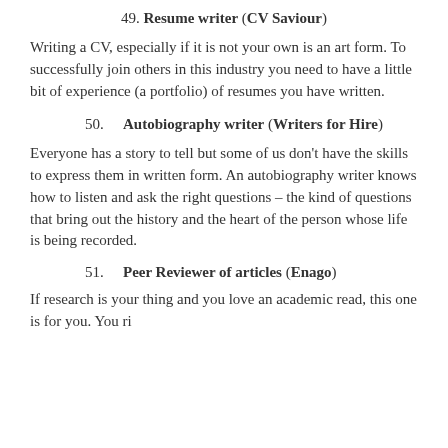49. Resume writer (CV Saviour)
Writing a CV, especially if it is not your own is an art form. To successfully join others in this industry you need to have a little bit of experience (a portfolio) of resumes you have written.
50. Autobiography writer (Writers for Hire)
Everyone has a story to tell but some of us don't have the skills to express them in written form. An autobiography writer knows how to listen and ask the right questions – the kind of questions that bring out the history and the heart of the person whose life is being recorded.
51. Peer Reviewer of articles (Enago)
If research is your thing and you love an academic read, this one is for you. You ri…